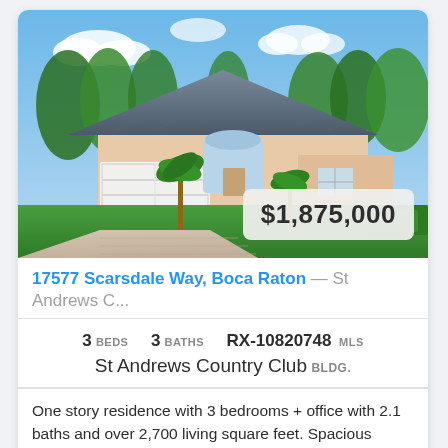[Figure (photo): Aerial/elevated view of a single-story Florida home with grey tile roof, white garage door, palm trees and lush landscaping, blue sky with clouds]
$1,875,000
17577 Scarsdale Way, Boca Raton — St Andrews C...
3 BEDS   3 BATHS   RX-10820748 MLS
St Andrews Country Club BLDG.
One story residence with 3 bedrooms + office with 2.1 baths and over 2,700 living square feet. Spacious primary bedroom with large primary bath. Great room